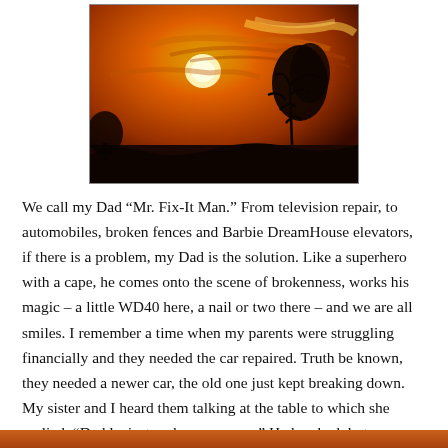[Figure (photo): A dramatic sunset photograph showing an orange and red sky with the sun visible through clouds, silhouetted trees and landscape at the bottom.]
We call my Dad “Mr. Fix-It Man.” From television repair, to automobiles, broken fences and Barbie DreamHouse elevators, if there is a problem, my Dad is the solution. Like a superhero with a cape, he comes onto the scene of brokenness, works his magic – a little WD40 here, a nail or two there – and we are all smiles. I remember a time when my parents were struggling financially and they needed the car repaired. Truth be known, they needed a newer car, the old one just kept breaking down. My sister and I heard them talking at the table to which she replied, “Daddy, just make a new one.” He laughed; but my sister